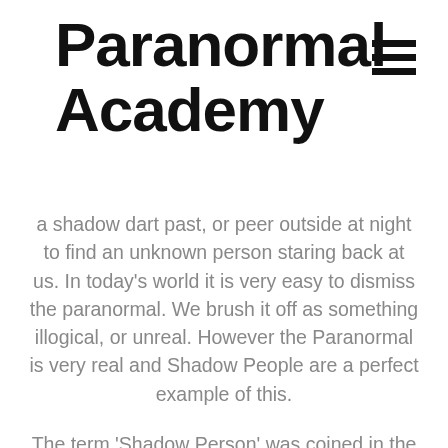Paranormal Academy
a shadow dart past, or peer outside at night to find an unknown person staring back at us. In today's world it is very easy to dismiss the paranormal. We brush it off as something illogical, or unreal. However the Paranormal is very real and Shadow People are a perfect example of this.
The term 'Shadow Person' was coined in the late 1990's by MAJ Andrews who wrote an article in support of the phenomena. He detailed his personal experiences with them and referred to them as Shadow People throughout his writing. The Shadow People are described as dark or black figures that have a human-like shape. They are often seen in dimly